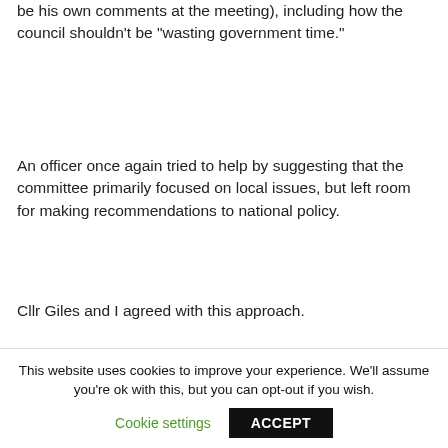be his own comments at the meeting), including how the council shouldn't be “wasting government time.”
An officer once again tried to help by suggesting that the committee primarily focused on local issues, but left room for making recommendations to national policy.
Cllr Giles and I agreed with this approach.
But Cllr Howard took this to mean we were happy to withdraw our proposal
This website uses cookies to improve your experience. We'll assume you're ok with this, but you can opt-out if you wish.
Cookie settings  ACCEPT